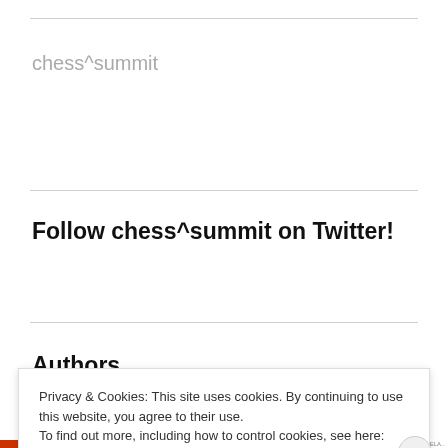chess^summit
Follow chess^summit on Twitter!
My Tweets
Authors
Privacy & Cookies: This site uses cookies. By continuing to use this website, you agree to their use.
To find out more, including how to control cookies, see here: Cookie Policy
Close and accept